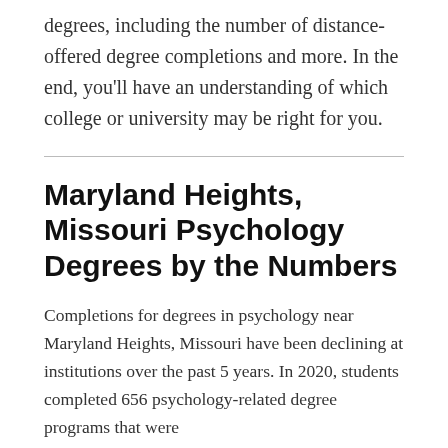degrees, including the number of distance-offered degree completions and more. In the end, you'll have an understanding of which college or university may be right for you.
Maryland Heights, Missouri Psychology Degrees by the Numbers
Completions for degrees in psychology near Maryland Heights, Missouri have been declining at institutions over the past 5 years. In 2020, students completed 656 psychology-related degree programs that were